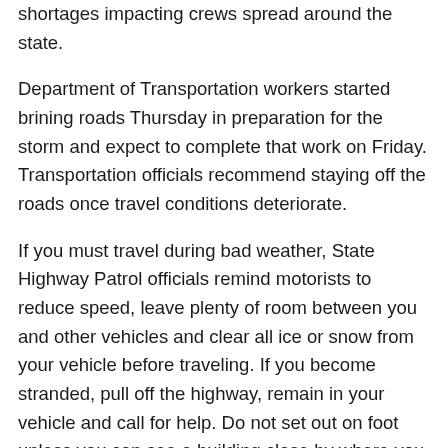shortages impacting crews spread around the state.
Department of Transportation workers started brining roads Thursday in preparation for the storm and expect to complete that work on Friday. Transportation officials recommend staying off the roads once travel conditions deteriorate.
If you must travel during bad weather, State Highway Patrol officials remind motorists to reduce speed, leave plenty of room between you and other vehicles and clear all ice or snow from your vehicle before traveling. If you become stranded, pull off the highway, remain in your vehicle and call for help. Do not set out on foot unless you can see a building close by where you can take shelter.
To prepare for winter weather, North Carolina Emergency